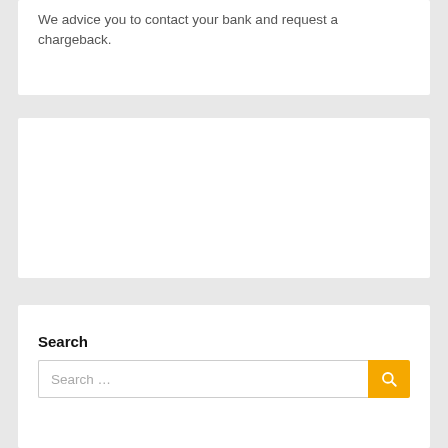We advice you to contact your bank and request a chargeback.
[Figure (other): Empty white card/panel area]
Search
Search ...